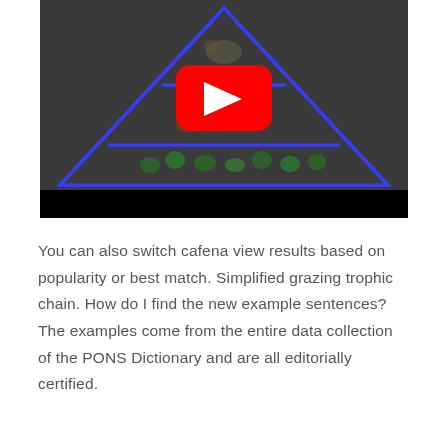[Figure (screenshot): YouTube video thumbnail showing a trophic pyramid (food chain) diagram with blue triangle outline on dark background, with YouTube play button overlay. The pyramid has three tiers: plants at the bottom, rodents in the middle, and a bird of prey at the top.]
You can also switch cafena view results based on popularity or best match. Simplified grazing trophic chain. How do I find the new example sentences? The examples come from the entire data collection of the PONS Dictionary and are all editorially certified.